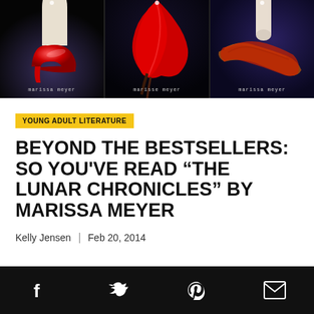[Figure (illustration): Three book covers from The Lunar Chronicles by Marissa Meyer. Left cover shows a red high-heel shoe against dark background. Middle cover shows a flowing red dress/cape against dark background. Right cover shows braided hair with red and gold tones against purple/blue background. Each has 'marissa meyer' text at the bottom.]
YOUNG ADULT LITERATURE
BEYOND THE BESTSELLERS: SO YOU'VE READ “THE LUNAR CHRONICLES” BY MARISSA MEYER
Kelly Jensen | Feb 20, 2014
[Figure (infographic): Black footer bar with social media sharing icons: Facebook (f), Twitter (bird), Pinterest (P), Email (envelope)]